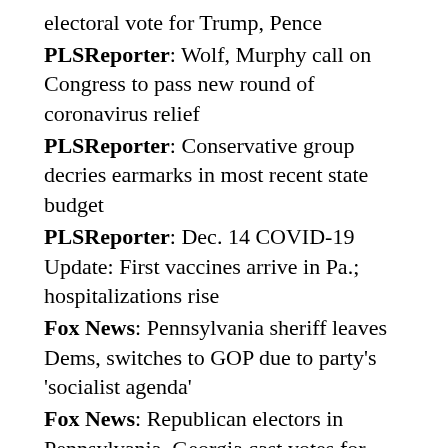electoral vote for Trump, Pence
PLSReporter: Wolf, Murphy call on Congress to pass new round of coronavirus relief
PLSReporter: Conservative group decries earmarks in most recent state budget
PLSReporter: Dec. 14 COVID-19 Update: First vaccines arrive in Pa.; hospitalizations rise
Fox News: Pennsylvania sheriff leaves Dems, switches to GOP due to party's 'socialist agenda'
Fox News: Republican electors in Pennsylvania, Georgia cast votes for Trump, hoping for court victories
Philly Voice: Govs. Wolf, Murphy urge Congress to pass new COVID-19 relief bill
The Hill: Top Judiciary Democrat's bill would criminalize threats to election officials